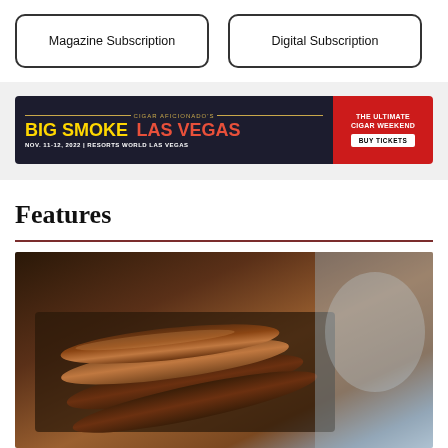Magazine Subscription
Digital Subscription
[Figure (infographic): Cigar Aficionado's Big Smoke Las Vegas advertisement banner. Text reads: CIGAR AFICIONADO'S BIG SMOKE LAS VEGAS. NOV. 11-12, 2022 | RESORTS WORLD LAS VEGAS. THE ULTIMATE CIGAR WEEKEND. BUY TICKETS.]
Features
[Figure (photo): Close-up photo of cigars in a box/case, brown and dark tones, blurred background.]